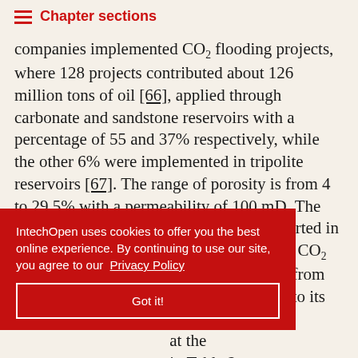Chapter sections
companies implemented CO₂ flooding projects, where 128 projects contributed about 126 million tons of oil [66], applied through carbonate and sandstone reservoirs with a percentage of 55 and 37% respectively, while the other 6% were implemented in tripolite reservoirs [67]. The range of porosity is from 4 to 29.5% with a permeability of 100 mD. The main operators and their productions reported in Table 2. The increased implementation of CO₂ flooding projects resort to its availability from natural and industrial sources in addition to its compared to at the in Table 2, 0.15 to mmarized in Table 3.
IntechOpen uses cookies to offer you the best online experience. By continuing to use our site, you agree to our Privacy Policy
Got it!